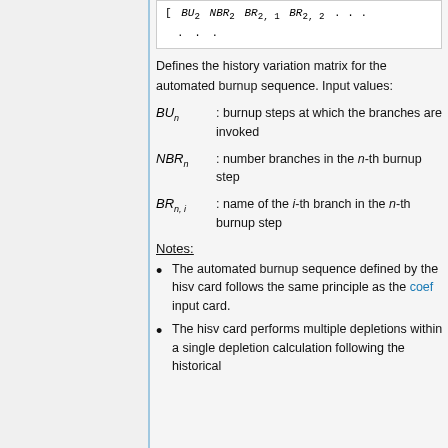Defines the history variation matrix for the automated burnup sequence. Input values:
BU_n : burnup steps at which the branches are invoked
NBR_n : number branches in the n-th burnup step
BR_{n,i} : name of the i-th branch in the n-th burnup step
Notes:
The automated burnup sequence defined by the hisv card follows the same principle as the coef input card.
The hisv card performs multiple depletions within a single depletion calculation following the historical